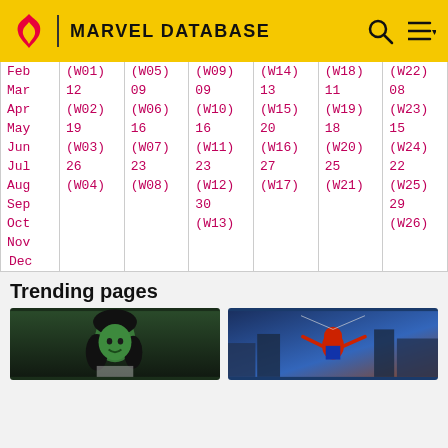MARVEL DATABASE
|  | Col1 | Col2 | Col3 | Col4 | Col5 | Col6 |
| --- | --- | --- | --- | --- | --- | --- |
| Feb | (W01) | (W05) | (W09) | (W14) | (W18) | (W22) |
| Mar | 12 | 09 | 09 | 13 | 11 | 08 |
| Apr | (W02) | (W06) | (W10) | (W15) | (W19) | (W23) |
| May | 19 | 16 | 16 | 20 | 18 | 15 |
| Jun | (W03) | (W07) | (W11) | (W16) | (W20) | (W24) |
| Jul | 26 | 23 | 23 | 27 | 25 | 22 |
| Aug | (W04) | (W08) | (W12) | (W17) | (W21) | (W25) |
| Sep |  |  | 30 |  |  | 29 |
| Oct |  |  | (W13) |  |  | (W26) |
| Nov |  |  |  |  |  |  |
| Dec |  |  |  |  |  |  |
Trending pages
[Figure (illustration): She-Hulk character illustration — green-skinned woman with dark hair, smiling]
[Figure (screenshot): Spider-Man game screenshot — Spider-Man in red suit swinging through city]